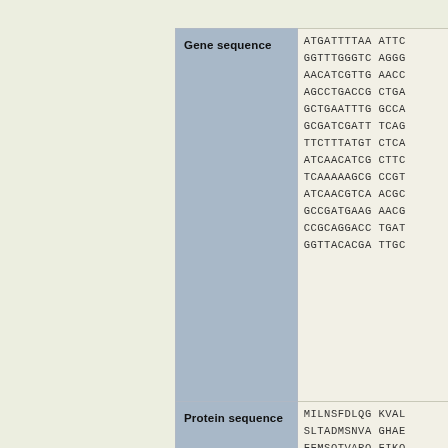| Label | Sequence |
| --- | --- |
| Gene sequence | ATGATTTTAA ATTC
GGTTTGGGTC AGGG
AACATCGTTG AACC
AGCCTGACCG CTGA
GCTGAATTTG GCCA
GCGATCGATT TCAG
TTCTTTATGT CTCA
ATCAACATCG CTTC
TCAAAAA GCG CCGT
ATCAACGTCA ACGC
GCCGATGAAG AACG
CCGCAGGACC TGAT
GGTTACAGCGA TTGC |
| Protein sequence | MILNSFDLQG KVAL
SLTADMSNVA GHAE
FFMSQTVARQ FIKQ
INVNAIAPGY MATN
GYTIAVDGGW LAR |